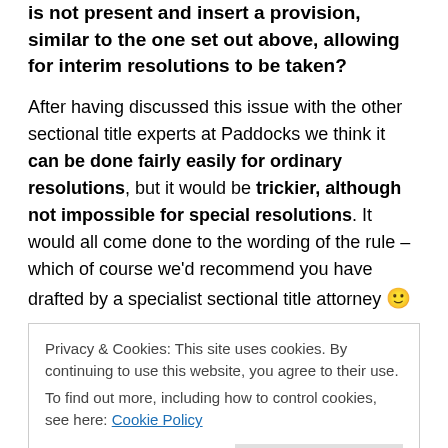is not present and insert a provision, similar to the one set out above, allowing for interim resolutions to be taken?
After having discussed this issue with the other sectional title experts at Paddocks we think it can be done fairly easily for ordinary resolutions, but it would be trickier, although not impossible for special resolutions. It would all come done to the wording of the rule – which of course we'd recommend you have drafted by a specialist sectional title attorney 🙂
Privacy & Cookies: This site uses cookies. By continuing to use this website, you agree to their use.
To find out more, including how to control cookies, see here: Cookie Policy
Close and accept
resolutions? Would it beneficial for schemes in SA?